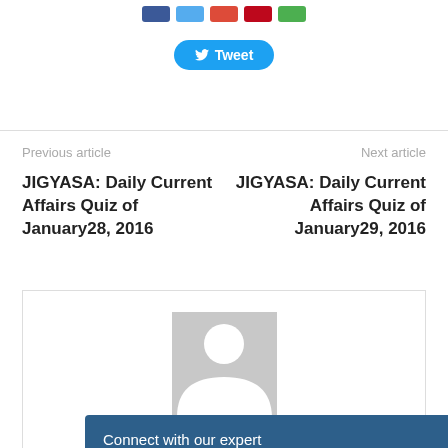[Figure (other): Social media share buttons: Facebook (blue), Twitter (cyan), Google+ (red), Pinterest (red), WhatsApp (green)]
[Figure (other): Tweet button with Twitter bird icon]
Previous article
Next article
JIGYASA: Daily Current Affairs Quiz of January28, 2016
JIGYASA: Daily Current Affairs Quiz of January29, 2016
[Figure (illustration): Default grey avatar/profile placeholder image showing a silhouette of a person]
CL
Connect with our expert